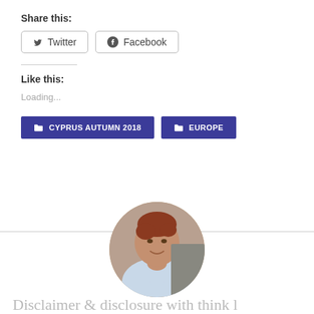Share this:
Twitter
Facebook
Like this:
Loading...
CYPRUS AUTUMN 2018
EUROPE
[Figure (photo): Circular profile photo of a woman with short reddish-brown hair, smiling, wearing a sleeveless light blue top, with a blurred background.]
D... li... l... t... ith... Hi... l...